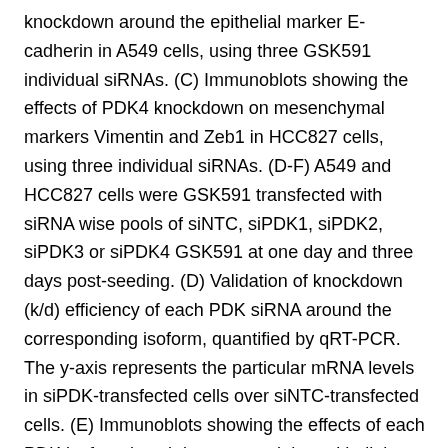knockdown around the epithelial marker E-cadherin in A549 cells, using three GSK591 individual siRNAs. (C) Immunoblots showing the effects of PDK4 knockdown on mesenchymal markers Vimentin and Zeb1 in HCC827 cells, using three individual siRNAs. (D-F) A549 and HCC827 cells were GSK591 transfected with siRNA wise pools of siNTC, siPDK1, siPDK2, siPDK3 or siPDK4 GSK591 at one day and three days post-seeding. (D) Validation of knockdown (k/d) efficiency of each PDK siRNA around the corresponding isoform, quantified by qRT-PCR. The y-axis represents the particular mRNA levels in siPDK-transfected cells over siNTC-transfected cells. (E) Immunoblots showing the effects of each PDK isoform knockdown around the epithelial marker E-cadherin in A549 cells. (F) Immunoblots showing the effects of each individual PDK isoform knockdown around the mesenchymal markers Vimentin and Zeb1 in HCC827 cells. (G) Colony formation capacity of HCC827 cells treated as Rabbit polyclonal to